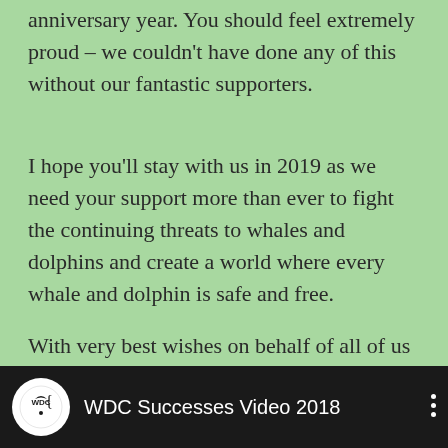anniversary year. You should feel extremely proud – we couldn't have done any of this without our fantastic supporters.
I hope you'll stay with us in 2019 as we need your support more than ever to fight the continuing threats to whales and dolphins and create a world where every whale and dolphin is safe and free.
With very best wishes on behalf of all of us at WDC,
Julia Pix, WDC campaigns manager
[Figure (screenshot): Video thumbnail bar with WDC logo and title 'WDC Successes Video 2018' on dark background]